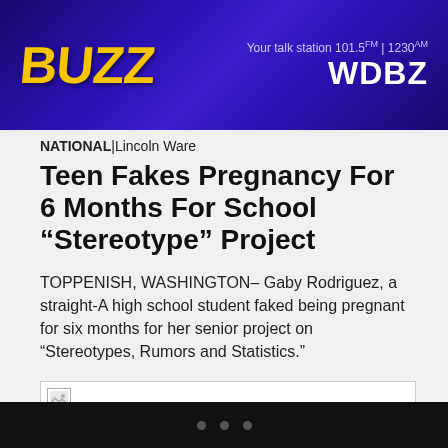[Figure (screenshot): WDBZ radio station banner ad — purple/blue gradient background with yellow logo text and white WDBZ text, tagline 'Your talk station 101.5FM | 1230AM WDBZ']
NATIONAL | Lincoln Ware
Teen Fakes Pregnancy For 6 Months For School “Stereotype” Project
TOPPENISH, WASHINGTON– Gaby Rodriguez, a straight-A high school student faked being pregnant for six months for her senior project on “Stereotypes, Rumors and Statistics.”
[Figure (photo): Broken/missing image placeholder]